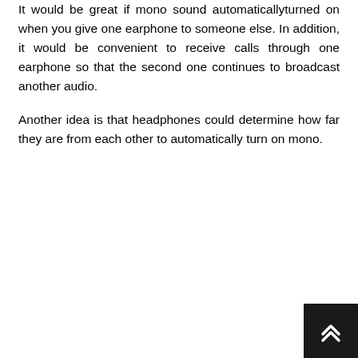It would be great if mono sound automaticallyturned on when you give one earphone to someone else. In addition, it would be convenient to receive calls through one earphone so that the second one continues to broadcast another audio.
Another idea is that headphones could determine how far they are from each other to automatically turn on mono.